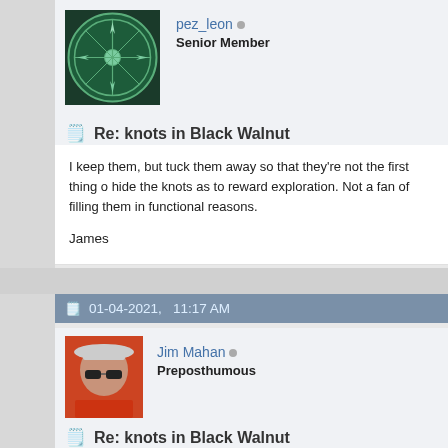[Figure (photo): Avatar of user pez_leon: circular green emblem with compass rose design on dark green background]
pez_leon ○
Senior Member
Re: knots in Black Walnut
I keep them, but tuck them away so that they're not the first thing o hide the knots as to reward exploration. Not a fan of filling them in functional reasons.

James
01-04-2021,   11:17 AM
[Figure (photo): Avatar of user Jim Mahan: photo of a man wearing sunglasses and a cap, outdoors]
Jim Mahan ○
Preposthumous
Re: knots in Black Walnut
Originally Posted by timber_cruiser